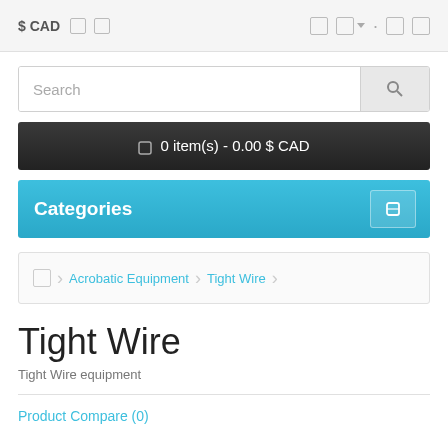$ CAD
Search
0 item(s) - 0.00 $ CAD
Categories
Acrobatic Equipment  Tight Wire
Tight Wire
Tight Wire equipment
Product Compare (0)